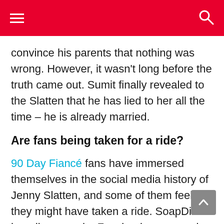convince his parents that nothing was wrong. However, it wasn't long before the truth came out. Sumit finally revealed to the Slatten that he has lied to her all the time – he is already married.
Are fans being taken for a ride?
90 Day Fiancé fans have immersed themselves in the social media history of Jenny Slatten, and some of them feel they might have taken a ride. SoapDirt has discovered a Facebook message in which a woman who claims to be Slatten's cousin says that Slatten has always known.